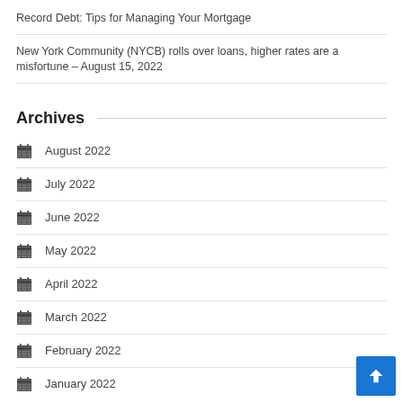Record Debt: Tips for Managing Your Mortgage
New York Community (NYCB) rolls over loans, higher rates are a misfortune – August 15, 2022
Archives
August 2022
July 2022
June 2022
May 2022
April 2022
March 2022
February 2022
January 2022